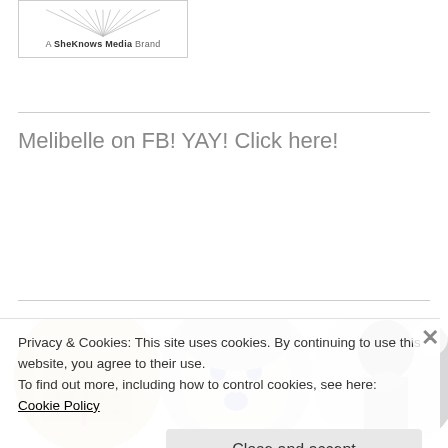[Figure (logo): A SheKnows Media Brand logo with radiating lines at top]
Melibelle on FB! YAY! Click here!
[Figure (photo): Three circular photos: playground/architecture scene, baby face looking up, woman in black and white covering mouth]
Privacy & Cookies: This site uses cookies. By continuing to use this website, you agree to their use.
To find out more, including how to control cookies, see here: Cookie Policy
Close and accept